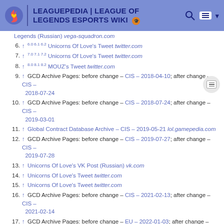LEAGUEPEDIA | LEAGUE OF LEGENDS ESPORTS WIKI
Legends (Russian) vega-squadron.com
6. ↑ 6.0 6.1 6.2 Unicorns Of Love's Tweet twitter.com
7. ↑ 7.0 7.1 7.2 Unicorns Of Love's Tweet twitter.com
8. ↑ 8.0 8.1 8.2 MOUZ's Tweet twitter.com
9. ↑ GCD Archive Pages: before change – CIS – 2018-04-10; after change – CIS – 2018-07-24
10. ↑ GCD Archive Pages: before change – CIS – 2018-07-24; after change – CIS – 2019-03-01
11. ↑ Global Contract Database Archive – CIS – 2019-05-21 lol.gamepedia.com
12. ↑ GCD Archive Pages: before change – CIS – 2019-07-27; after change – CIS – 2019-07-28
13. ↑ Unicorns Of Love's VK Post (Russian) vk.com
14. ↑ Unicorns Of Love's Tweet twitter.com
15. ↑ Unicorns Of Love's Tweet twitter.com
16. ↑ GCD Archive Pages: before change – CIS – 2021-02-13; after change – CIS – 2021-02-14
17. ↑ GCD Archive Pages: before change – EU – 2022-01-03; after change – EU – 2022-01-04